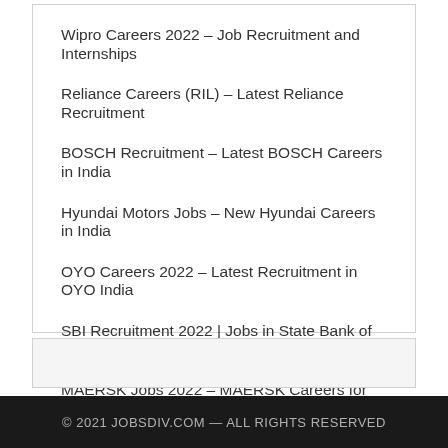Wipro Careers 2022 – Job Recruitment and Internships
Reliance Careers (RIL) – Latest Reliance Recruitment
BOSCH Recruitment – Latest BOSCH Careers in India
Hyundai Motors Jobs – New Hyundai Careers in India
OYO Careers 2022 – Latest Recruitment in OYO India
SBI Recruitment 2022 | Jobs in State Bank of India
MAERSK Jobs 2022 – MAERSK Careers for Freshers in India
Citibank Careers 2022 | Latest Recruitment in India
© 2021 JOBSDIV.COM — ALL RIGHTS RESERVED